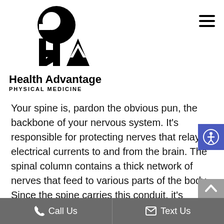[Figure (logo): Health Advantage Physical Medicine logo — black stylized GHA letters with a circular element above, company name below]
Your spine is, pardon the obvious pun, the backbone of your nervous system. It's responsible for protecting nerves that relay electrical currents to and from the brain. The spinal column contains a thick network of nerves that feed to various parts of the body. Since the spine carries this conduit, it's
Call Us   Text Us